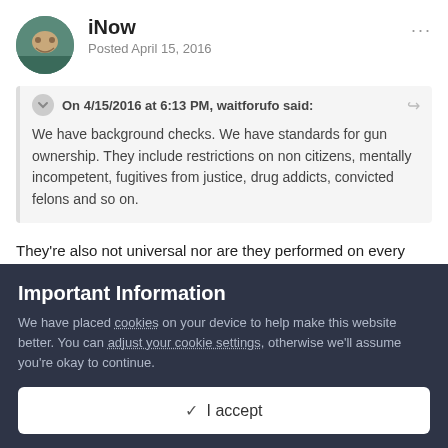iNow
Posted April 15, 2016
On 4/15/2016 at 6:13 PM, waitforufo said:
We have background checks. We have standards for gun ownership. They include restrictions on non citizens, mentally incompetent, fugitives from justice, drug addicts, convicted felons and so on.
They're also not universal nor are they performed on every transaction or trade, so you're being a bit disingenuous.
Important Information
We have placed cookies on your device to help make this website better. You can adjust your cookie settings, otherwise we'll assume you're okay to continue.
✓ I accept